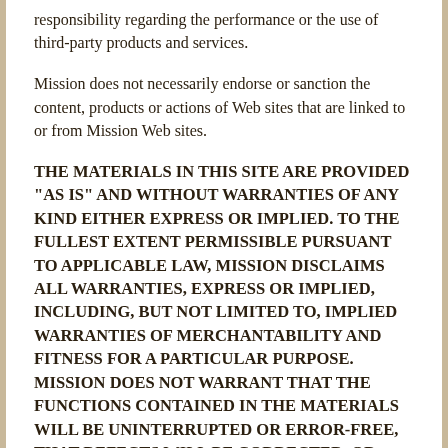responsibility regarding the performance or the use of third-party products and services.
Mission does not necessarily endorse or sanction the content, products or actions of Web sites that are linked to or from Mission Web sites.
THE MATERIALS IN THIS SITE ARE PROVIDED "AS IS" AND WITHOUT WARRANTIES OF ANY KIND EITHER EXPRESS OR IMPLIED. TO THE FULLEST EXTENT PERMISSIBLE PURSUANT TO APPLICABLE LAW, MISSION DISCLAIMS ALL WARRANTIES, EXPRESS OR IMPLIED, INCLUDING, BUT NOT LIMITED TO, IMPLIED WARRANTIES OF MERCHANTABILITY AND FITNESS FOR A PARTICULAR PURPOSE. MISSION DOES NOT WARRANT THAT THE FUNCTIONS CONTAINED IN THE MATERIALS WILL BE UNINTERRUPTED OR ERROR-FREE, THAT DEFECTS WILL BE CORRECTED, OR THAT THIS SITE OR THE SERVER